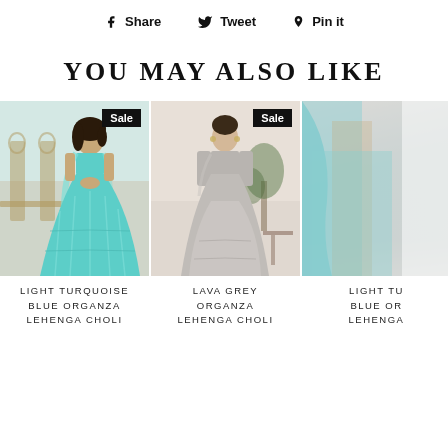f Share   Tweet   Pin it
YOU MAY ALSO LIKE
[Figure (photo): Model wearing light turquoise blue organza lehenga choli with Sale badge]
LIGHT TURQUOISE BLUE ORGANZA LEHENGA CHOLI
[Figure (photo): Model wearing lava grey organza lehenga choli with Sale badge]
LAVA GREY ORGANZA LEHENGA CHOLI
[Figure (photo): Partially visible model wearing light turquoise blue organza lehenga]
LIGHT TURQUOISE BLUE ORGANZA LEHENGA